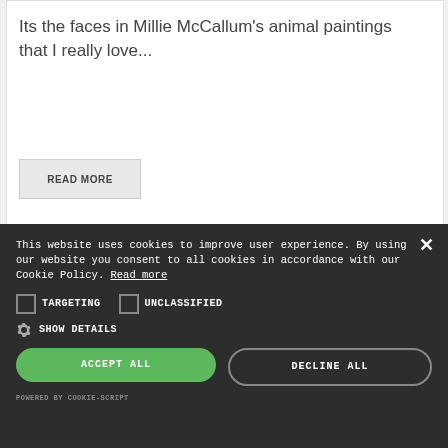Its the faces in Millie McCallum's animal paintings that I really love...
READ MORE
[Figure (photo): Partial view of an animal painting with green and pink/purple colors]
This website uses cookies to improve user experience. By using our website you consent to all cookies in accordance with our Cookie Policy. Read more
TARGETING
UNCLASSIFIED
SHOW DETAILS
ACCEPT ALL
DECLINE ALL
POWERED BY COOKIE-SCRIPT